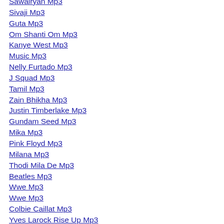Sawairyan Mp3
Sivaji Mp3
Guta Mp3
Om Shanti Om Mp3
Kanye West Mp3
Music Mp3
Nelly Furtado Mp3
J Squad Mp3
Tamil Mp3
Zain Bhikha Mp3
Justin Timberlake Mp3
Gundam Seed Mp3
Mika Mp3
Pink Floyd Mp3
Milana Mp3
Thodi Mila De Mp3
Beatles Mp3
Wwe Mp3
Wwe Mp3
Colbie Caillat Mp3
Yves Larock Rise Up Mp3
Britney Spears Mp3
Crazy Mp3
Boney M Mp3
Celine Dion Mp3
Bailar Mp3